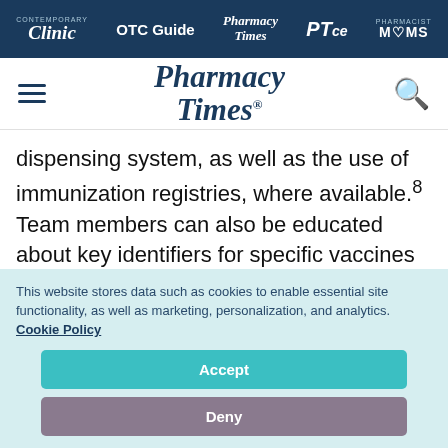Clinic | OTC Guide | Pharmacy Times | PTce | Pharmacist MOMS
[Figure (logo): Pharmacy Times logo with hamburger menu and search icon]
dispensing system, as well as the use of immunization registries, where available.8 Team members can also be educated about key identifiers for specific vaccines and refer patients who fit these criteria to the pharmacist.
This website stores data such as cookies to enable essential site functionality, as well as marketing, personalization, and analytics. Cookie Policy
Accept
Deny